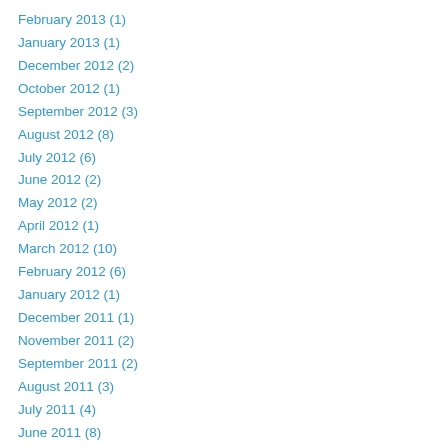February 2013 (1)
January 2013 (1)
December 2012 (2)
October 2012 (1)
September 2012 (3)
August 2012 (8)
July 2012 (6)
June 2012 (2)
May 2012 (2)
April 2012 (1)
March 2012 (10)
February 2012 (6)
January 2012 (1)
December 2011 (1)
November 2011 (2)
September 2011 (2)
August 2011 (3)
July 2011 (4)
June 2011 (8)
May 2011 (2)